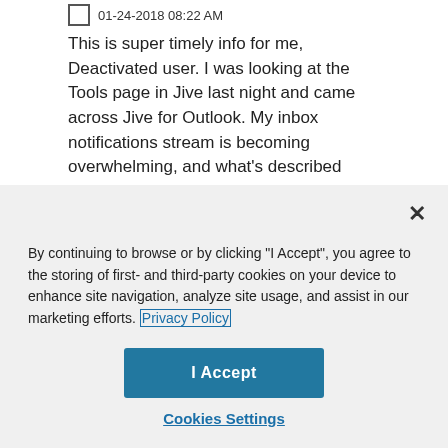This is super timely info for me, Deactivated user. I was looking at the Tools page in Jive last night and came across Jive for Outlook. My inbox notifications stream is becoming overwhelming, and what's described above just might help me manage that. Thanks!
[Figure (screenshot): Cookie consent modal overlay with close button (×), cookie policy text with Privacy Policy link, I Accept button, and Cookies Settings link]
john_morris
[Figure (screenshot): AS LIKED button in red at bottom right]